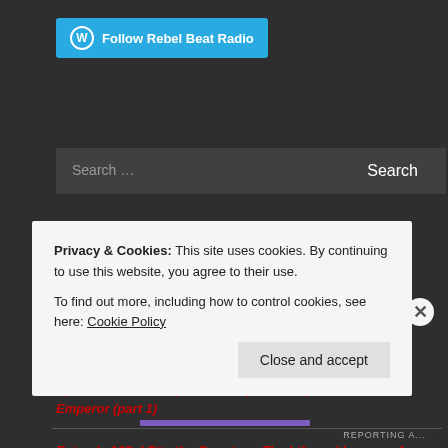[Figure (logo): WordPress follow button: 'Follow Rebel Beat Radio' with WordPress circle icon on cyan/blue background]
Search …
Search
Recent Posts
Episode 104: A People's History of Godspeed You! Black Emperor (part 1)
Episode 103: I Pity the Country – The Life and Legacy of Willie Dunn
Episode 102: ...
Privacy & Cookies: This site uses cookies. By continuing to use this website, you agree to their use.
To find out more, including how to control cookies, see here: Cookie Policy
Close and accept